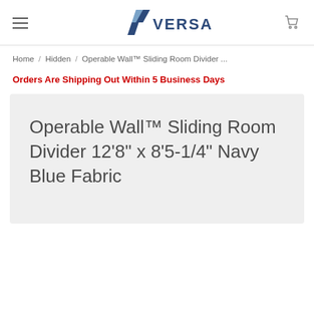VERSARE
Home / Hidden / Operable Wall™ Sliding Room Divider ...
Orders Are Shipping Out Within 5 Business Days
Operable Wall™ Sliding Room Divider 12'8" x 8'5-1/4" Navy Blue Fabric